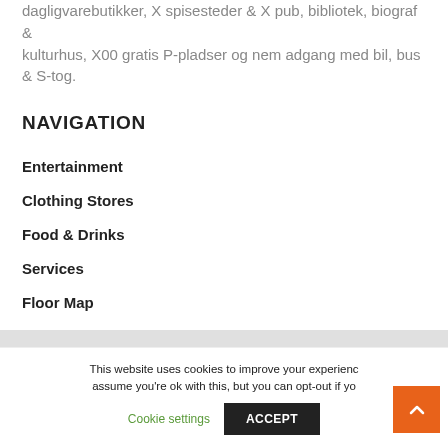dagligvarebutikker, X spisesteder & X pub, bibliotek, biograf & kulturhus, X00 gratis P-pladser og nem adgang med bil, bus & S-tog.
NAVIGATION
Entertainment
Clothing Stores
Food & Drinks
Services
Floor Map
This website uses cookies to improve your experience assume you're ok with this, but you can opt-out if yo
Cookie settings
ACCEPT